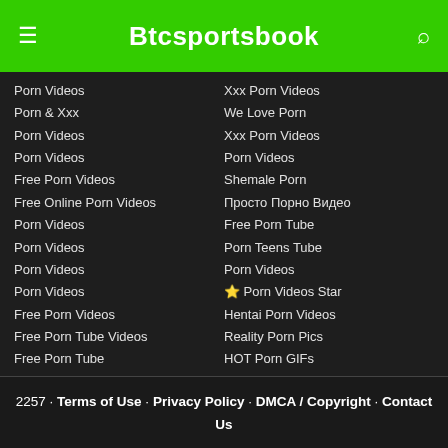Btcsportsbook
Porn Videos | Xxx Porn Videos
Porn & Xxx | We Love Porn
Porn Videos | Xxx Porn Videos
Porn Videos | Porn Videos
Free Porn Videos | Shemale Porn
Free Online Porn Videos | Просто Порно Видео
Porn Videos | Free Porn Tube
Porn Videos | Porn Teens Tube
Porn Videos | Porn Videos
Porn Videos | ⭐ Porn Videos Star
Free Porn Videos | Hentai Porn Videos
Free Porn Tube Videos | Reality Porn Pics
Free Porn Tube | HOT Porn GIFs
2257 · Terms of Use · Privacy Policy · DMCA / Copyright · Contact Us
© 2022 BTCSPORTSBOOK.INFO. All rights reserved.